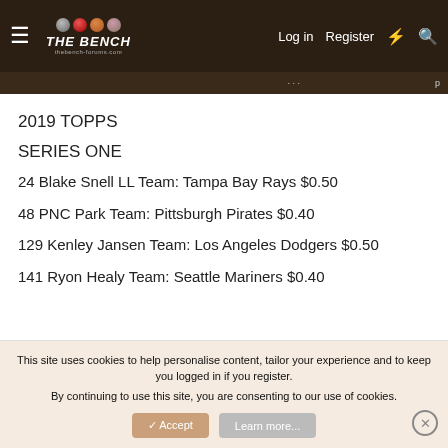THE BENCH — Log in | Register
2019 TOPPS
SERIES ONE
24 Blake Snell LL Team: Tampa Bay Rays $0.50
48 PNC Park Team: Pittsburgh Pirates $0.40
129 Kenley Jansen Team: Los Angeles Dodgers $0.50
141 Ryon Healy Team: Seattle Mariners $0.40
This site uses cookies to help personalise content, tailor your experience and to keep you logged in if you register.
By continuing to use this site, you are consenting to our use of cookies.